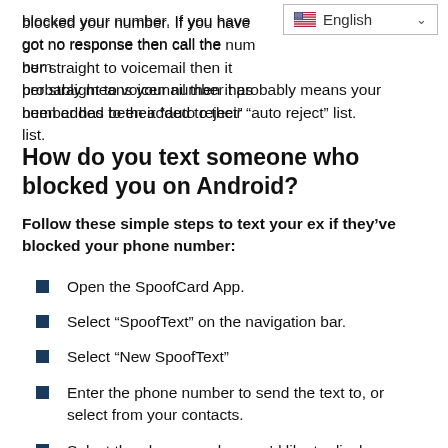blocked your number. If you have got no response then call the number straight to voicemail then it probably means your number has been added to their “auto reject” list.
How do you text someone who blocked you on Android?
Follow these simple steps to text your ex if they’ve blocked your phone number:
Open the SpoofCard App.
Select “SpoofText” on the navigation bar.
Select “New SpoofText”
Enter the phone number to send the text to, or select from your contacts.
Select the phone number you’d like to display as your caller ID.
What is the purpose of sending a text?